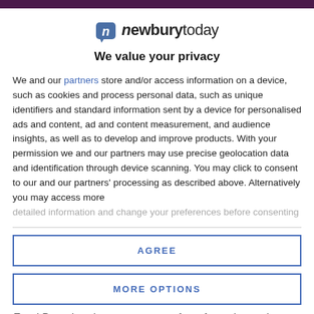newburytoday
We value your privacy
We and our partners store and/or access information on a device, such as cookies and process personal data, such as unique identifiers and standard information sent by a device for personalised ads and content, ad and content measurement, and audience insights, as well as to develop and improve products. With your permission we and our partners may use precise geolocation data and identification through device scanning. You may click to consent to our and our partners' processing as described above. Alternatively you may access more detailed information and change your preferences before consenting
AGREE
MORE OPTIONS
Food Parcel and some company for a few minutes is